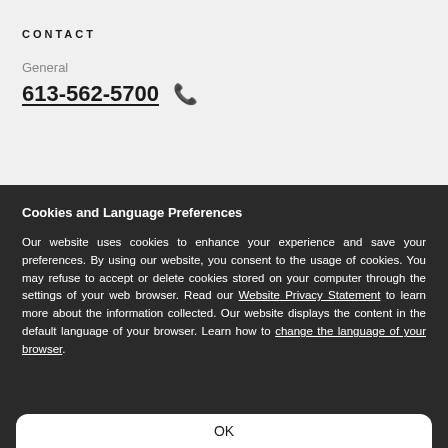CONTACT
General
613-562-5700
Cookies and Language Preferences
Our website uses cookies to enhance your experience and save your preferences. By using our website, you consent to the usage of cookies. You may refuse to accept or delete cookies stored on your computer through the settings of your web browser. Read our Website Privacy Statement to learn more about the information collected. Our website displays the content in the default language of your browser. Learn how to change the language of your browser.
OK